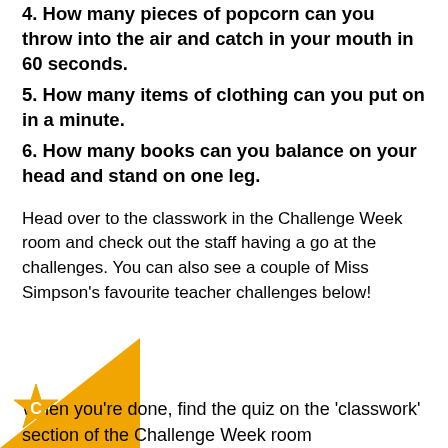4. How many pieces of popcorn can you throw into the air and catch in your mouth in 60 seconds.
5. How many items of clothing can you put on in a minute.
6. How many books can you balance on your head and stand on one leg.
Head over to the classwork in the Challenge Week room and check out the staff having a go at the challenges. You can also see a couple of Miss Simpson's favourite teacher challenges below!
When you're done, find the quiz on the 'classwork' section of the Challenge Week room